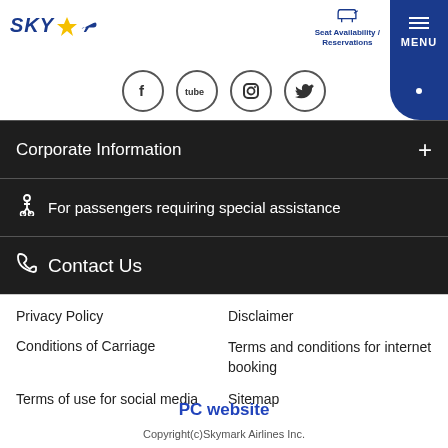SKY [logo] — Seat Availability / Reservations — MENU
[Figure (other): Social media icons row: Facebook, YouTube, Instagram, Twitter circles]
Corporate Information +
♿ For passengers requiring special assistance
📞 Contact Us
Privacy Policy
Disclaimer
Conditions of Carriage
Terms and conditions for internet booking
Terms of use for social media
Sitemap
PC website
Copyright(c)Skymark Airlines Inc.